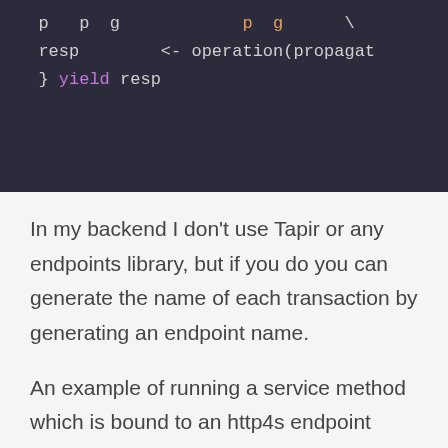[Figure (screenshot): Code block showing Scala code snippet with 'resp <- operation(propagat' and '} yield resp' lines on dark background]
In my backend I don't use Tapir or any endpoints library, but if you do you can generate the name of each transaction by generating an endpoint name.
An example of running a service method which is bound to an http4s endpoint looks like this.
[Figure (screenshot): Code block showing Scala code with 'val unsecured: HttpRoutes[Task] = Http' and 'case GET -> Root :? CityMatcher(ci' on dark background]